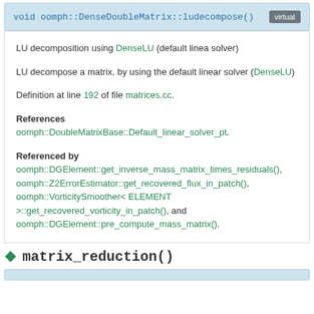void oomph::DenseDoubleMatrix::ludecompose()  virtual
LU decomposition using DenseLU (default linea solver)
LU decompose a matrix, by using the default linear solver (DenseLU)
Definition at line 192 of file matrices.cc.
References oomph::DoubleMatrixBase::Default_linear_solver_pt.
Referenced by oomph::DGElement::get_inverse_mass_matrix_times_residuals(), oomph::Z2ErrorEstimator::get_recovered_flux_in_patch(), oomph::VorticitySmoother< ELEMENT >::get_recovered_vorticity_in_patch(), and oomph::DGElement::pre_compute_mass_matrix().
matrix_reduction()